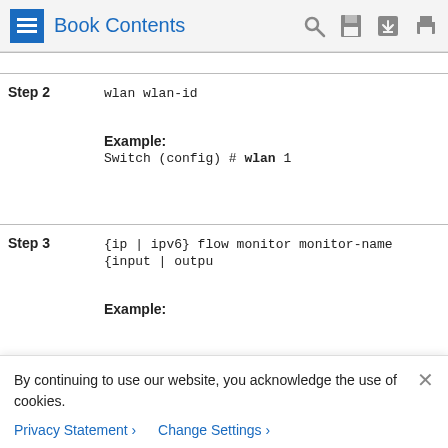Book Contents
| Step | Command / Description |
| --- | --- |
| Step 2 | wlan wlan-id

Example:
Switch (config) # wlan 1 |
| Step 3 | {ip | ipv6} flow monitor monitor-name {input | output

Example: |
By continuing to use our website, you acknowledge the use of cookies.
Privacy Statement > Change Settings >